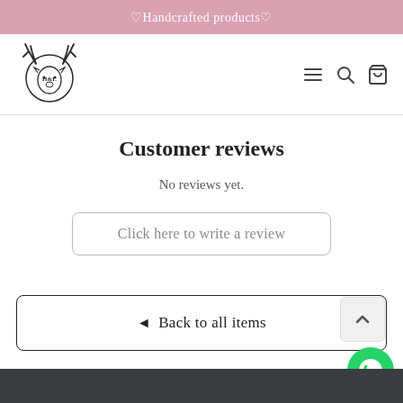♡Handcrafted products♡
[Figure (logo): H&L logo with deer head illustration]
Customer reviews
No reviews yet.
Click here to write a review
◄ Back to all items